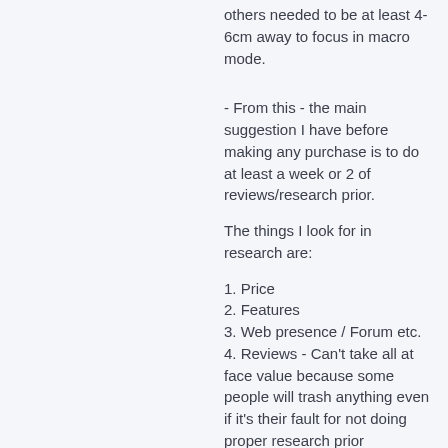others needed to be at least 4-6cm away to focus in macro mode.
- From this - the main suggestion I have before making any purchase is to do at least a week or 2 of reviews/research prior.
The things I look for in research are:
1. Price
2. Features
3. Web presence / Forum etc.
4. Reviews - Can't take all at face value because some people will trash anything even if it's their fault for not doing proper research prior